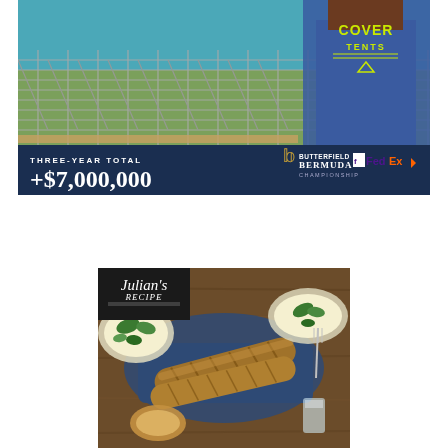[Figure (photo): Advertisement for Butterfield Bermuda Championship golf event. Top portion shows bleacher/grandstand frames being set up with turquoise ocean in background, and a person wearing a blue apron/vest with 'COVER TENTS' text. Bottom dark blue banner reads 'THREE-YEAR TOTAL +$7,000,000' with Butterfield Bermuda Championship logo and FedEx logo.]
[Figure (photo): Advertisement for Julian's Recipe brand showing artisan baguette breads on a rustic wooden table with blue linen cloth, salad bowls, and other food items. Julian's Recipe logo in top left corner.]